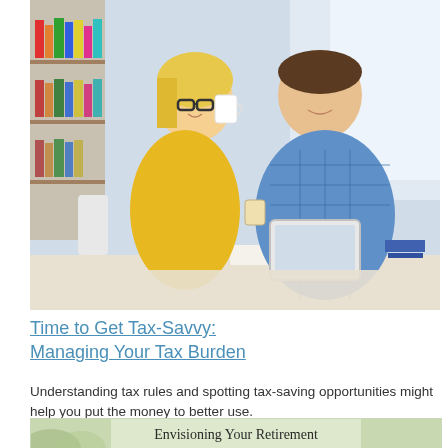[Figure (photo): A smiling woman with glasses in a yellow shirt holding a coffee mug, and a man in a blue plaid shirt holding a tablet, sitting together in a room with bookshelves in the background.]
Time to Get Tax-Savvy: Managing Your Tax Burden
Understanding tax rules and spotting tax-saving opportunities might help you put the money to better use.
[Figure (illustration): Partial view of a card or banner with text 'Envisioning Your Retirement' on a soft green/nature background.]